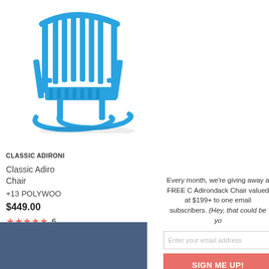[Figure (photo): Blue Adirondack rocking chair product image on white background]
CLASSIC ADIRON
Classic Adiro
Chair
+13 POLYWOO
$449.00
★★★★★ 6
☆ Add to Wis
Compare
Every month, we're giving away a FREE C Adirondack Chair valued at $199+ to one email subscribers. (Hey, that could be yo
Enter your email address
SIGN ME UP!
One (1) winner will be selected at random at the end of month and contacted by email. U.S. entrants only